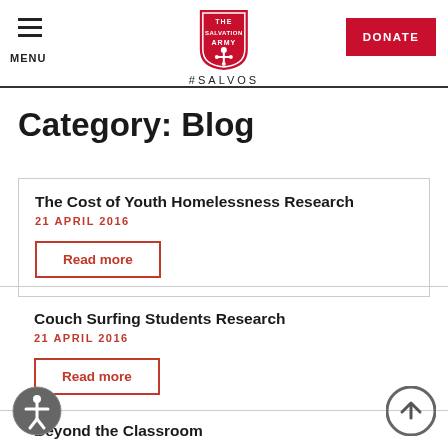MENU | The Salvation Army #SALVOS | DONATE
Category: Blog
The Cost of Youth Homelessness Research
21 APRIL 2016
Read more
Couch Surfing Students Research
21 APRIL 2016
Read more
Beyond the Classroom